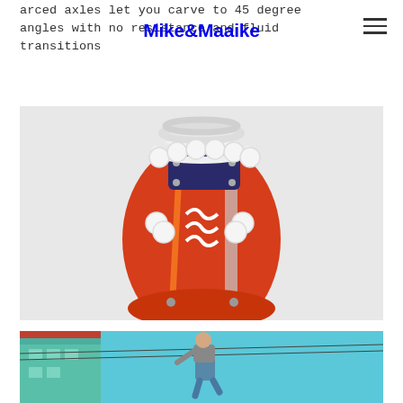arced axles let you carve to 45 degree angles with no resistance and fluid transitions
[Figure (logo): Mike&Maaike logo in bold blue sans-serif font]
[Figure (photo): Overhead/underneath view of a red and orange skateboard with white wheels and coiled spring/wheel arrangement, showing the deck underside with graphic branding]
[Figure (photo): Person performing a skateboard trick outdoors near a building, shot from below against a blue sky]